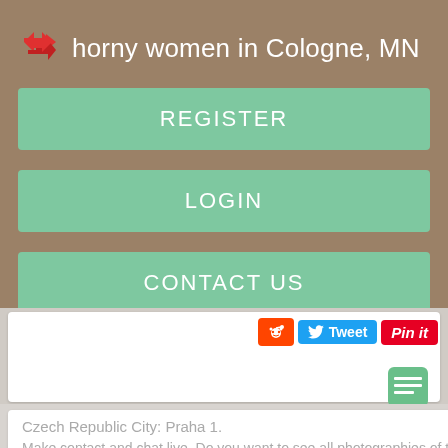horny women in Cologne, MN
REGISTER
LOGIN
CONTACT US
[Figure (screenshot): Social sharing buttons: Reddit, Tweet, Pin it]
[Figure (screenshot): Chat icon button]
Czech Republic City: Praha 1.
Make contact and chat live. Do you want to see all photographies of this woman?
[Figure (photo): Grid of thumbnail images, 5 columns by 3 rows]